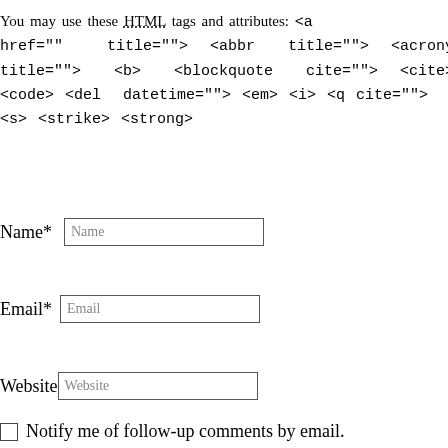You may use these HTML tags and attributes: <a href="" title=""> <abbr title=""> <acronym title=""> <b> <blockquote cite=""> <cite> <code> <del datetime=""> <em> <i> <q cite=""> <s> <strike> <strong>
Name*
Email*
Website
Notify me of follow-up comments by email.